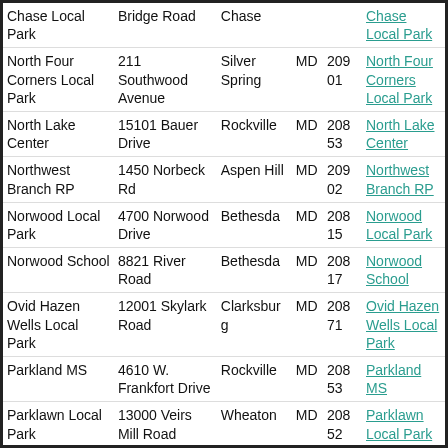| Name | Address | City | State | ZIP | Link |
| --- | --- | --- | --- | --- | --- |
| Chase Local Park | Bridge Road | Chase |  |  | Chase Local Park |
| North Four Corners Local Park | 211 Southwood Avenue | Silver Spring | MD | 20901 | North Four Corners Local Park |
| North Lake Center | 15101 Bauer Drive | Rockville | MD | 20853 | North Lake Center |
| Northwest Branch RP | 1450 Norbeck Rd | Aspen Hill | MD | 20902 | Northwest Branch RP |
| Norwood Local Park | 4700 Norwood Drive | Bethesda | MD | 20815 | Norwood Local Park |
| Norwood School | 8821 River Road | Bethesda | MD | 20817 | Norwood School |
| Ovid Hazen Wells Local Park | 12001 Skylark Road | Clarksburg | MD | 20871 | Ovid Hazen Wells Local Park |
| Parkland MS | 4610 W. Frankfort Drive | Rockville | MD | 20853 | Parkland MS |
| Parklawn Local Park | 13000 Veirs Mill Road | Wheaton | MD | 20852 | Parklawn Local Park |
| Peary HS | 13300 Arctic Avenue | Rockville | MD | 20853 | Peary HS |
| Phoenix II | 7401 Hadley Farms Drive | Gaithersburg | MD | 20879 | Phoenix II |
| Pleasant View | 11321 Norris | Wheaton | MD | 20902 | Pleasant View |